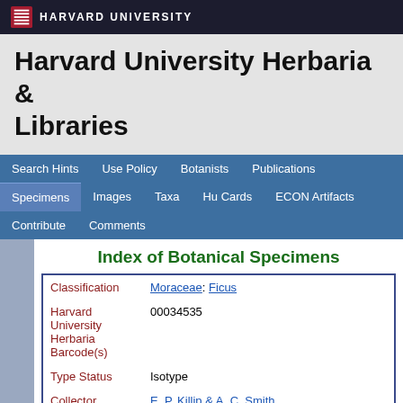HARVARD UNIVERSITY
Harvard University Herbaria & Libraries
Search Hints | Use Policy | Botanists | Publications | Specimens | Images | Taxa | Hu Cards | ECON Artifacts | Contribute | Comments
Index of Botanical Specimens
| Field | Value |
| --- | --- |
| Classification | Moraceae: Ficus |
| Harvard University Herbaria Barcode(s) | 00034535 |
| Type Status | Isotype |
| Collector | E. P. Killip & A. C. Smith |
| Collector number | 19479 |
| Country | Colombia |